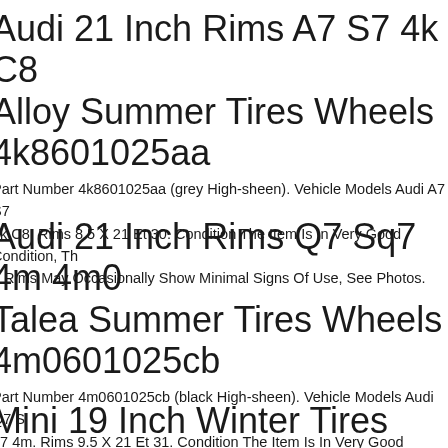Audi 21 Inch Rims A7 S7 4k C8 Alloy Summer Tires Wheels 4k8601025aa
Part Number 4k8601025aa (grey High-sheen). Vehicle Models Audi A7 S7 4k C8. Rims 8.5 X 21 Et 30. Condition The Item Is In Very Good Condition, The Rims May Occasionally Show Minimal Signs Of Use, See Photos.
Audi 21 Inch Rims Q7 Sq7 4m 4m0 Talea Summer Tires Wheels 4m0601025cb
Part Number 4m0601025cb (black High-sheen). Vehicle Models Audi Q7 Sq7 4m. Rims 9.5 X 21 Et 31. Condition The Item Is In Very Good Condition, The Rims May Occasionally Show Minimal Signs Of Use, See Photos.
Mini 19 Inch Winter Tires Countryman R60 Pacemann R61